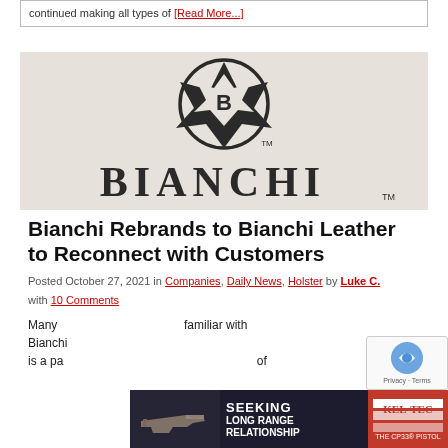continued making all types of [Read More...]
[Figure (logo): Bianchi brand logo: circular emblem with geometric star and letter B, with BIANCHI text below in large serif letters, all on a light beige/gray background]
Bianchi Rebrands to Bianchi Leather to Reconnect with Customers
Posted October 27, 2021 in Companies, Daily News, Holster by Luke C. with 10 Comments
Many from GSG host at TFB will no doubt be familiar with Bianchi... is a pa... of
[Figure (advertisement): Kel-Tec advertisement banner showing CP33 pistol with text SEEKING LONG RANGE RELATIONSHIP and KelTec logo on dark background]